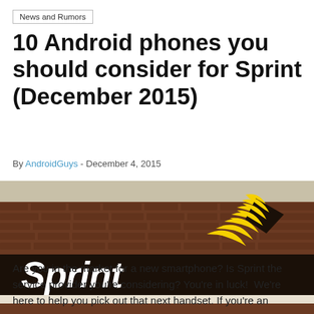News and Rumors
10 Android phones you should consider for Sprint (December 2015)
By AndroidGuys - December 4, 2015
[Figure (photo): Sprint store exterior showing the Sprint sign with yellow logo on a brick building]
Are you in the market for a new smartphone? Is Sprint the service provider you're considering? You're in luck!  We're here to help you pick out that next handset. If you're an